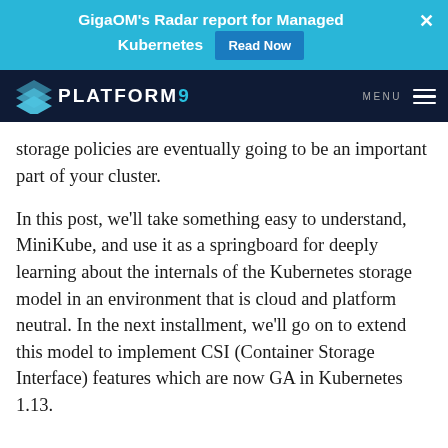[Figure (screenshot): Light blue banner advertisement for GigaOM's Radar report for Managed Kubernetes with a 'Read Now' button and close (x) button]
[Figure (logo): Platform9 logo with layered diamond shapes and navigation bar with MENU text and hamburger icon on dark navy background]
storage policies are eventually going to be an important part of your cluster.
In this post, we’ll take something easy to understand, MiniKube, and use it as a springboard for deeply learning about the internals of the Kubernetes storage model in an environment that is cloud and platform neutral. In the next installment, we’ll go on to extend this model to implement CSI (Container Storage Interface) features which are now GA in Kubernetes 1.13.